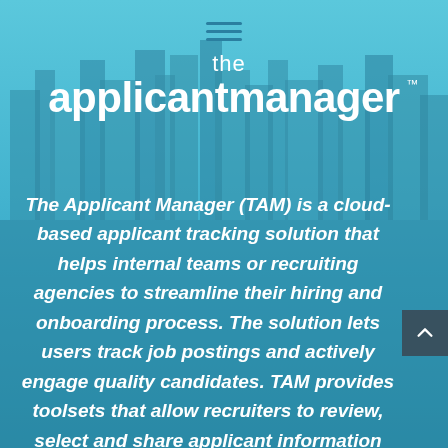[Figure (logo): The Applicant Manager logo — 'the' in small light text above 'applicantmanager' in large bold white text with TM superscript, displayed over a blue-tinted city skyline background]
The Applicant Manager (TAM) is a cloud-based applicant tracking solution that helps internal teams or recruiting agencies to streamline their hiring and onboarding process. The solution lets users track job postings and actively engage quality candidates. TAM provides toolsets that allow recruiters to review, select and share applicant information within teams.